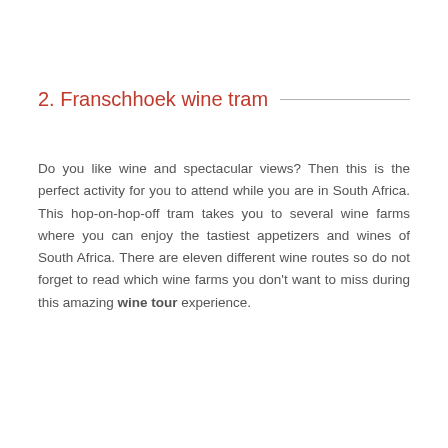2. Franschhoek wine tram
Do you like wine and spectacular views? Then this is the perfect activity for you to attend while you are in South Africa. This hop-on-hop-off tram takes you to several wine farms where you can enjoy the tastiest appetizers and wines of South Africa. There are eleven different wine routes so do not forget to read which wine farms you don't want to miss during this amazing wine tour experience.